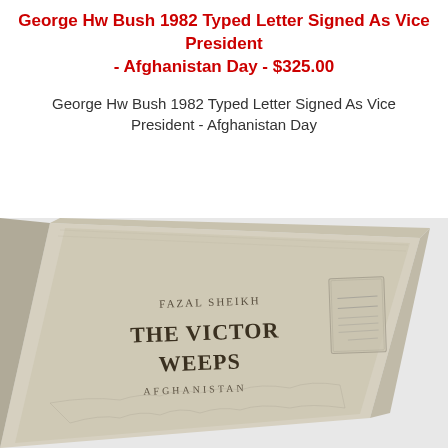George Hw Bush 1982 Typed Letter Signed As Vice President - Afghanistan Day - $325.00
George Hw Bush 1982 Typed Letter Signed As Vice President - Afghanistan Day
[Figure (photo): Photo of a book titled 'THE VICTOR WEEPS AFGHANISTAN' by Fazal Sheikh, shown at an angle. The book is a hardcover with a light beige/tan cover, featuring the author's name at the top and the title in large bold letters. A stamp or label is visible on the right side of the cover.]